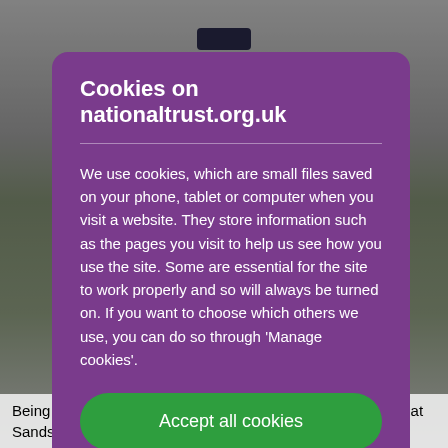[Figure (screenshot): Background webpage screenshot showing a nature reserve scene, partially obscured by a cookie consent modal overlay. A green landscape is partially visible at the edges.]
Cookies on nationaltrust.org.uk
We use cookies, which are small files saved on your phone, tablet or computer when you visit a website. They store information such as the pages you visit to help us see how you use the site. Some are essential for the site to work properly and so will always be turned on. If you want to choose which others we use, you can do so through 'Manage cookies'.
Accept all cookies
Being a National Nature Reserve means our research done at Sandscale can be used elsewhere in the country